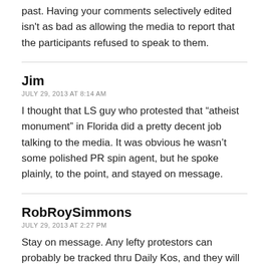past. Having your comments selectively edited isn't as bad as allowing the media to report that the participants refused to speak to them.
Jim
JULY 29, 2013 AT 8:14 AM
I thought that LS guy who protested that “atheist monument” in Florida did a pretty decent job talking to the media. It was obvious he wasn’t some polished PR spin agent, but he spoke plainly, to the point, and stayed on message.
RobRoySimmons
JULY 29, 2013 AT 2:27 PM
Stay on message. Any lefty protestors can probably be tracked thru Daily Kos, and they will more than likely be “professionals” meaning paycheck liberals.